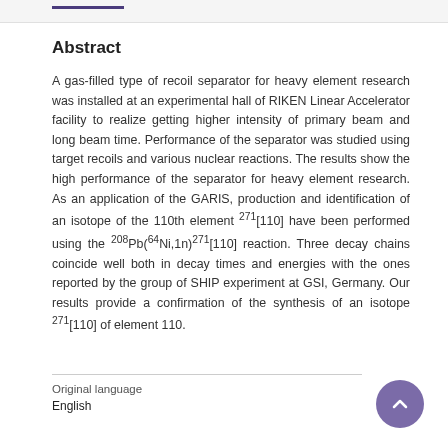Abstract
A gas-filled type of recoil separator for heavy element research was installed at an experimental hall of RIKEN Linear Accelerator facility to realize getting higher intensity of primary beam and long beam time. Performance of the separator was studied using target recoils and various nuclear reactions. The results show the high performance of the separator for heavy element research. As an application of the GARIS, production and identification of an isotope of the 110th element 271[110] have been performed using the 208Pb(64Ni,1n)271[110] reaction. Three decay chains coincide well both in decay times and energies with the ones reported by the group of SHIP experiment at GSI, Germany. Our results provide a confirmation of the synthesis of an isotope 271[110] of element 110.
Original language
English